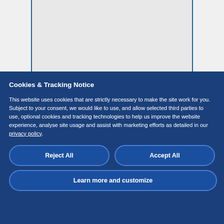[Figure (screenshot): Partial screenshot of a webpage with a light gray background, partially visible behind the cookie consent banner.]
Cookies & Tracking Notice
This website uses cookies that are strictly necessary to make the site work for you. Subject to your consent, we would like to use, and allow selected third parties to use, optional cookies and tracking technologies to help us improve the website experience, analyse site usage and assist with marketing efforts as detailed in our privacy policy.
Reject All
Accept All
Learn more and customize